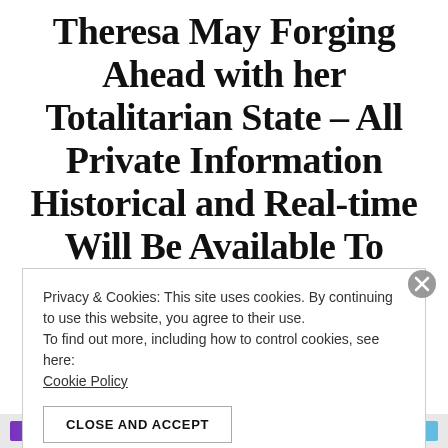Theresa May Forging Ahead with her Totalitarian State – All Private Information Historical and Real-time Will Be Available To Government Agencies – An Independent Scotland
Privacy & Cookies: This site uses cookies. By continuing to use this website, you agree to their use.
To find out more, including how to control cookies, see here: Cookie Policy
CLOSE AND ACCEPT